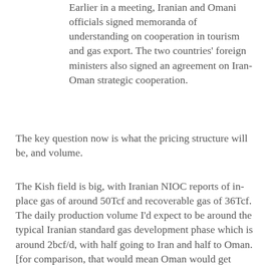Earlier in a meeting, Iranian and Omani officials signed memoranda of understanding on cooperation in tourism and gas export. The two countries' foreign ministers also signed an agreement on Iran-Oman strategic cooperation.
The key question now is what the pricing structure will be, and volume.
The Kish field is big, with Iranian NIOC reports of in-place gas of around 50Tcf and recoverable gas of 36Tcf. The daily production volume I'd expect to be around the typical Iranian standard gas development phase which is around 2bcf/d, with half going to Iran and half to Oman. [for comparison, that would mean Oman would get around half Oman's total demand right now, and 5 times what they are getting from Qatar via Dolphin]. That would leave enough gas for a Kish Phase 2, possibly with someone else (like India and PetroPars perhaps?)
But at what price has Oman secured the gas? That was always the issue with Iran in previous negotiations, also in the Iranian's negotiations with India and Pakistan. To some